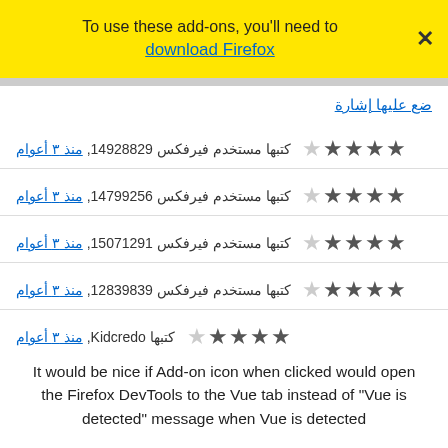To use these add-ons, you'll need to download Firefox
ضع عليها إشارة
كتبها مستخدم فيرفكس 14928829, منذ ٣ أعوام ★★★★☆
كتبها مستخدم فيرفكس 14799256, منذ ٣ أعوام ★★★★☆
كتبها مستخدم فيرفكس 15071291, منذ ٣ أعوام ★★★★☆
كتبها مستخدم فيرفكس 12839839, منذ ٣ أعوام ★★★★☆
كتبها Kidcredo, منذ ٣ أعوام ★★★★☆
It would be nice if Add-on icon when clicked would open the Firefox DevTools to the Vue tab instead of "Vue is detected" message when Vue is detected